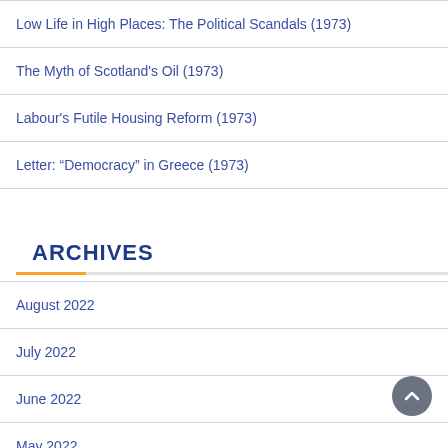Low Life in High Places: The Political Scandals (1973)
The Myth of Scotland's Oil (1973)
Labour's Futile Housing Reform (1973)
Letter: “Democracy” in Greece (1973)
ARCHIVES
August 2022
July 2022
June 2022
May 2022